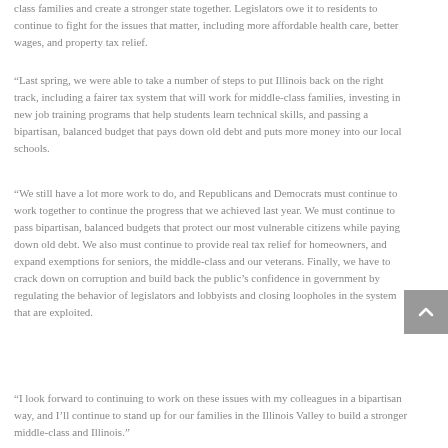class families and create a stronger state together. Legislators owe it to residents to continue to fight for the issues that matter, including more affordable health care, better wages, and property tax relief.
“Last spring, we were able to take a number of steps to put Illinois back on the right track, including a fairer tax system that will work for middle-class families, investing in new job training programs that help students learn technical skills, and passing a bipartisan, balanced budget that pays down old debt and puts more money into our local schools.
“We still have a lot more work to do, and Republicans and Democrats must continue to work together to continue the progress that we achieved last year. We must continue to pass bipartisan, balanced budgets that protect our most vulnerable citizens while paying down old debt. We also must continue to provide real tax relief for homeowners, and expand exemptions for seniors, the middle-class and our veterans. Finally, we have to crack down on corruption and build back the public’s confidence in government by regulating the behavior of legislators and lobbyists and closing loopholes in the system that are exploited.
“I look forward to continuing to work on these issues with my colleagues in a bipartisan way, and I’ll continue to stand up for our families in the Illinois Valley to build a stronger middle-class and Illinois.”